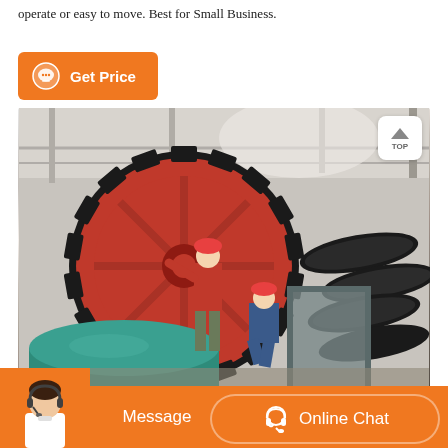operate or easy to move. Best for Small Business.
[Figure (other): Orange button with chat icon labeled 'Get Price']
[Figure (photo): Industrial factory scene showing workers in hard hats working on large heavy machinery including a large red gear/ball mill and black spiral conveyors in a warehouse setting. A 'TOP' navigation button is overlaid in the top right corner.]
[Figure (other): Bottom navigation bar with orange background showing a customer service agent avatar on the left, a 'Message' button in the center, and an 'Online Chat' button with headset icon on the right.]